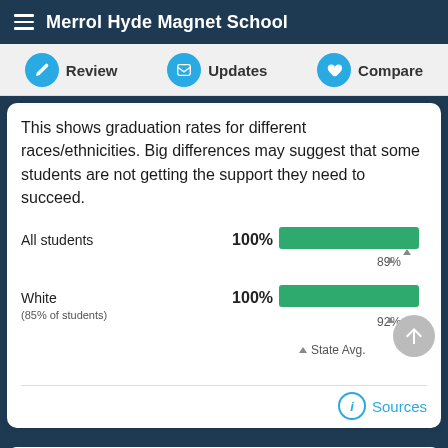Merrol Hyde Magnet School
[Figure (infographic): Navigation bar with Review, Updates, Compare icons]
This shows graduation rates for different races/ethnicities. Big differences may suggest that some students are not getting the support they need to succeed.
[Figure (bar-chart): Graduation rates by race/ethnicity]
Sources